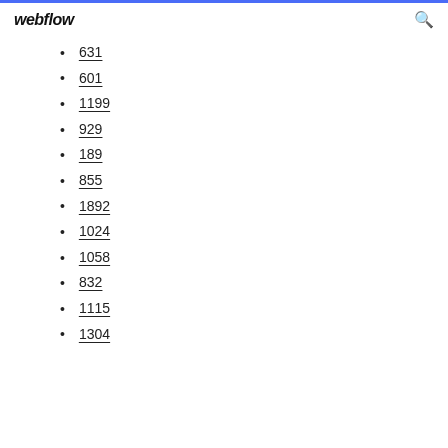webflow
631
601
1199
929
189
855
1892
1024
1058
832
1115
1304